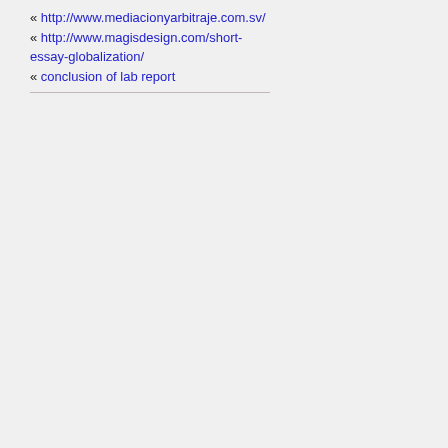« http://www.mediacionyarbitraje.com.sv/
« http://www.magisdesign.com/short-essay-globalization/
« conclusion of lab report